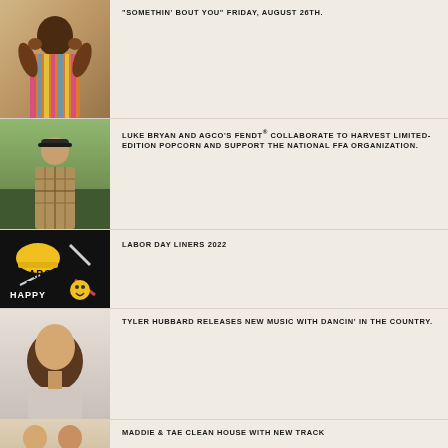[Figure (photo): Woman in colorful striped top with hands near face]
"SOMETHIN' BOUT YOU" FRIDAY, AUGUST 26TH.
[Figure (photo): Luke Bryan standing outdoors in plaid shirt and cap]
LUKE BRYAN AND AGCO'S FENDT® COLLABORATE TO HARVEST LIMITED-EDITION POPCORN AND SUPPORT THE NATIONAL FFA ORGANIZATION.
[Figure (photo): Happy Labor Day graphic with tools on dark background]
LABOR DAY LINERS 2022
[Figure (photo): Tyler Hubbard portrait with long hair]
TYLER HUBBARD RELEASES NEW MUSIC WITH DANCIN' IN THE COUNTRY.
[Figure (photo): Maddie & Tae - two women]
MADDIE & TAE CLEAN HOUSE WITH NEW TRACK